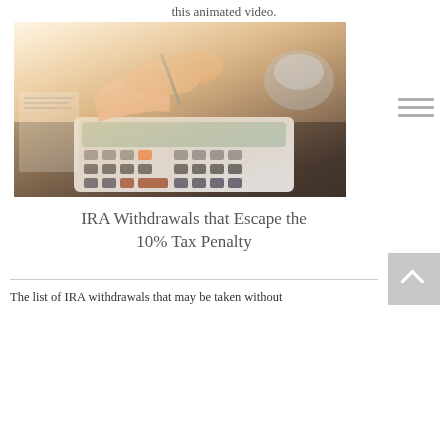this animated video.
[Figure (photo): Close-up photograph of a person's hand using a calculator, with papers and a coffee cup in the blurred background. Warm light on the left side.]
IRA Withdrawals that Escape the 10% Tax Penalty
The list of IRA withdrawals that may be taken without